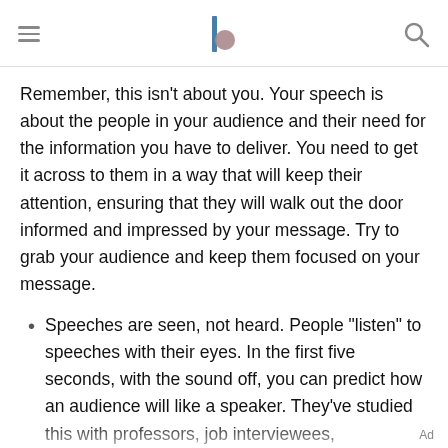[Navigation header with hamburger menu, logo, and search icon]
Remember, this isn't about you. Your speech is about the people in your audience and their need for the information you have to deliver. You need to get it across to them in a way that will keep their attention, ensuring that they will walk out the door informed and impressed by your message. Try to grab your audience and keep them focused on your message.
Speeches are seen, not heard. People "listen" to speeches with their eyes. In the first five seconds, with the sound off, you can predict how an audience will like a speaker. They've studied this with professors, job interviewees,